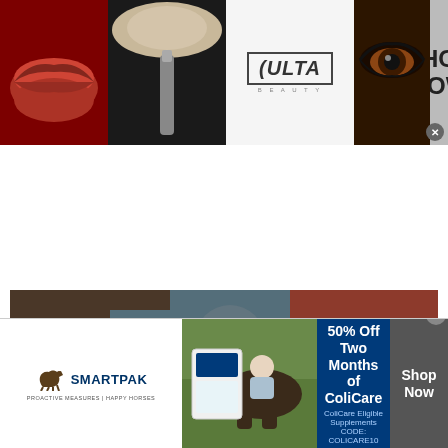[Figure (photo): Ulta Beauty advertisement banner with makeup images (lips, brush, eyes) and Ulta logo with 'SHOP NOW' call to action]
[Figure (photo): Article photo showing a person in casual clothing seated or reclining with brown/red furniture in background]
Be the first to comment!
👁 1465
Nigeria Ruled By People Who Lack Passion, Commitment – Bishop Mathew Kukah
[Figure (photo): SmartPak advertisement: '50% Off Two Months of ColiCare - ColiCare Eligible Supplements - CODE: COLICARE10' with horse and rider image, Shop Now button]